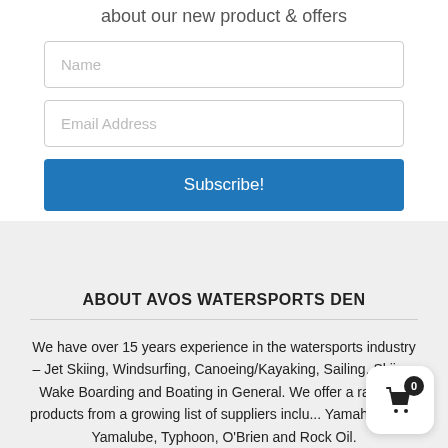about our new product & offers
Name
Email Address
Subscribe!
ABOUT AVOS WATERSPORTS DEN
We have over 15 years experience in the watersports industry – Jet Skiing, Windsurfing, Canoeing/Kayaking, Sailing, Skiing, Wake Boarding and Boating in General. We offer a range of products from a growing list of suppliers inclu... Yamaha, Jobe, Yamalube, Typhoon, O'Brien and Rock Oil.